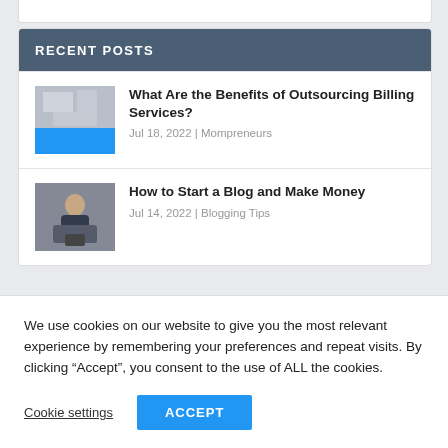RECENT POSTS
What Are the Benefits of Outsourcing Billing Services? | Jul 18, 2022 | Mompreneurs
How to Start a Blog and Make Money | Jul 14, 2022 | Blogging Tips
We use cookies on our website to give you the most relevant experience by remembering your preferences and repeat visits. By clicking “Accept”, you consent to the use of ALL the cookies.
Cookie settings  ACCEPT